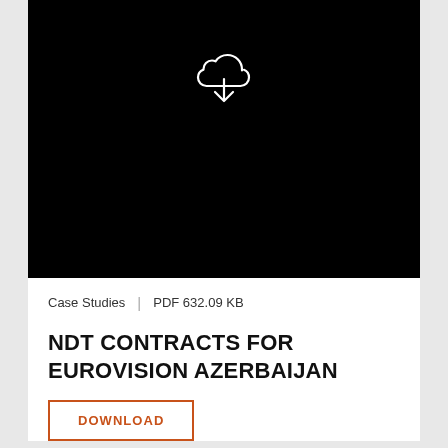[Figure (illustration): Black background with a white cloud download icon — cloud shape with a downward arrow beneath it, centered in the upper portion of the page]
Case Studies  |  PDF 632.09 KB
NDT CONTRACTS FOR EUROVISION AZERBAIJAN
DOWNLOAD